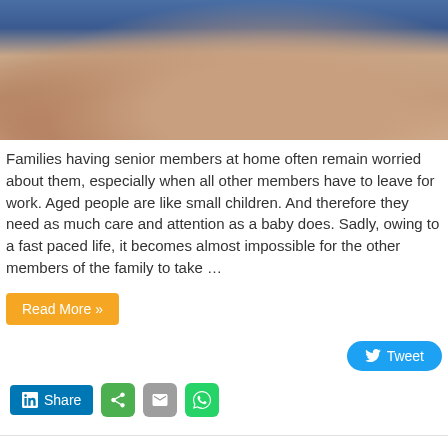[Figure (photo): Close-up photo of elderly person's hands being held, with blue clothing visible in background]
Families having senior members at home often remain worried about them, especially when all other members have to leave for work. Aged people are like small children. And therefore they need as much care and attention as a baby does. Sadly, owing to a fast paced life, it becomes almost impossible for the other members of the family to take ...
Read More »
[Figure (infographic): Social sharing buttons: Twitter Tweet button (blue pill), LinkedIn Share button (blue rectangle), green share icon, gray email icon, WhatsApp green icon]
Medical Marijuana Law In New York – The Good & The Bad
August 17, 2015   Health   0
[Figure (photo): Partial image of brown wooden object, likely related to the medical marijuana article]